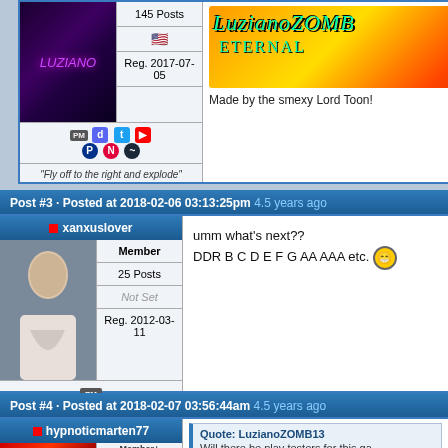145 Posts
Reg. 2017-07-05
"Fly off to the right and explode"
Post #3 · Posted at 2018-02-06 03:13:25pm 4.5 years ago
xanxuslover
Member
25 Posts
Not Set
Reg. 2012-03-11
umm what's next??
DDR B C D E F G AA AAA etc.
Post #4 · Posted at 2018-02-07 03:56:44am 4.5 years ago
hypnoticmarten77
Member+
Quote: LuzianoZOMB13
Will there be play testers for this ga